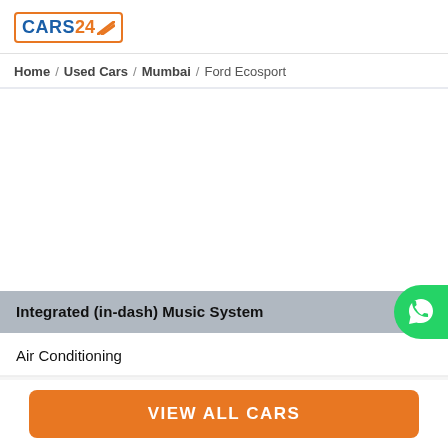CARS 24
Home / Used Cars / Mumbai / Ford Ecosport
Integrated (in-dash) Music System
Air Conditioning
VIEW ALL CARS